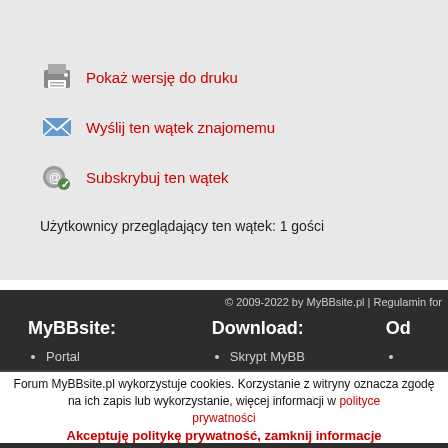Pokaż wersję do druku
Wyślij ten wątek znajomemu
Subskrybuj ten wątek
Użytkownicy przeglądający ten wątek: 1 gości
© 2009-2022 by MyBBsite.pl | Regulamin for
MyBBsite:
Portal
Aktualności
Porady
Dokumentacja
Download:
Skrypt MyBB
Modyfikacje
Tłumaczenia
Łatki
Od
Forum MyBBsite.pl wykorzystuje cookies. Korzystanie z witryny oznacza zgodę na ich zapis lub wykorzystanie, więcej informacji w polityce prywatności
Akceptuję politykę prywatność, zamknij informacje